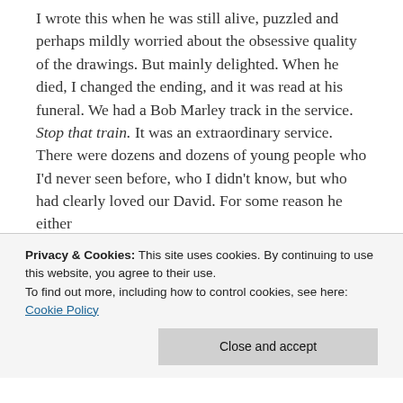I wrote this when he was still alive, puzzled and perhaps mildly worried about the obsessive quality of the drawings. But mainly delighted. When he died, I changed the ending, and it was read at his funeral. We had a Bob Marley track in the service. Stop that train. It was an extraordinary service. There were dozens and dozens of young people who I'd never seen before, who I didn't know, but who had clearly loved our David. For some reason he either
Privacy & Cookies: This site uses cookies. By continuing to use this website, you agree to their use. To find out more, including how to control cookies, see here: Cookie Policy